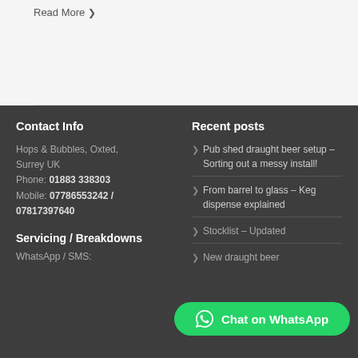Read More >
Contact Info
Hops & Bubbles, Oxted, Surrey UK
Phone: 01883 338303
Mobile: 07786553242 / 07817397640
Recent posts
Pub shed draught beer setup – Sorting out a messy install!
From barrel to glass – Keg dispense explained
Stocklist – Updated
New draught beer
Servicing / Breakdowns
WhatsApp / SMS:
Chat on WhatsApp